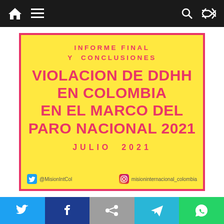Navigation bar with home, menu, search, and shuffle icons
INFORME FINAL Y CONCLUSIONES
VIOLACION DE DDHH EN COLOMBIA EN EL MARCO DEL PARO NACIONAL 2021
JULIO 2021
@MisionIntCol   misioninternacional_colombia
Social share bar: Twitter, Facebook, Link, Telegram, WhatsApp